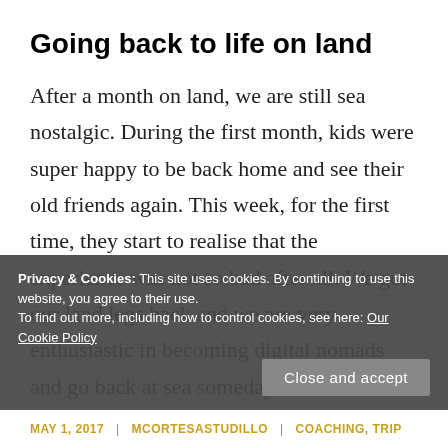Going back to life on land
After a month on land, we are still sea nostalgic. During the first month, kids were super happy to be back home and see their old friends again. This week, for the first time, they start to realise that the experience was not so bad after all. We got our land legs back and we are very enthusiastic in becoming digital nomads and go back at sea someday.
Privacy & Cookies: This site uses cookies. By continuing to use this website, you agree to their use.
To find out more, including how to control cookies, see here: Our Cookie Policy
MAY 1, 2017 | MCORTESASTUDILLO | COACHING, TRIP